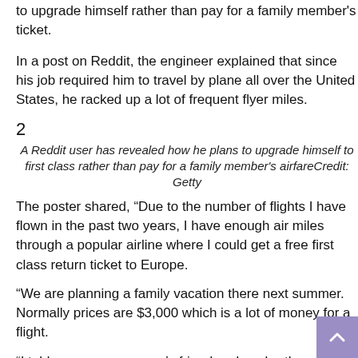to upgrade himself rather than pay for a family member's ticket.
In a post on Reddit, the engineer explained that since his job required him to travel by plane all over the United States, he racked up a lot of frequent flyer miles.
2
A Reddit user has revealed how he plans to upgrade himself to first class rather than pay for a family member's airfare Credit: Getty
The poster shared, “Due to the number of flights I have flown in the past two years, I have enough air miles through a popular airline where I could get a free first class return ticket to Europe.
“We are planning a family vacation there next summer. Normally prices are $3,000 which is a lot of money for a flight.
“I told my mom, my mom’s friend and my brother about it and they basically told me that I should use the miles to get one of them the free ticket, and expressed that I should pay for my ticket because I ‘make more money than all of them.’”